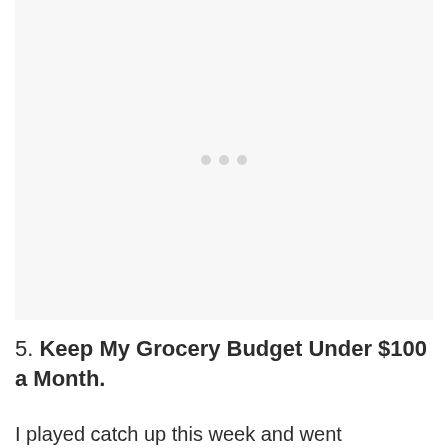[Figure (other): Gray placeholder image area with three small light gray dots centered, indicating a loading or placeholder state]
5. Keep My Grocery Budget Under $100 a Month.
I played catch up this week and went